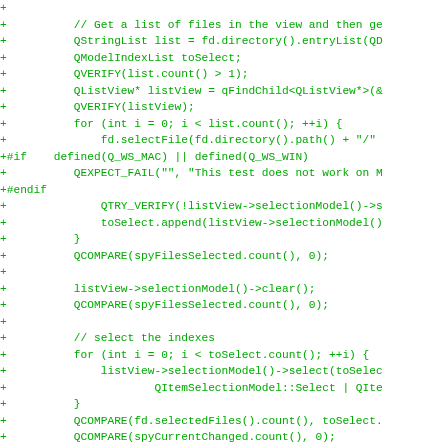[Figure (other): Code diff snippet showing C++ Qt test code with green '+' diff markers, green monospace font on white background. Lines include QStringList, QModelIndexList, QVERIFY, QListView, for loops, QTRY_VERIFY, toSelect.append, QCOMPARE calls, listView selectionModel operations, and comments.]